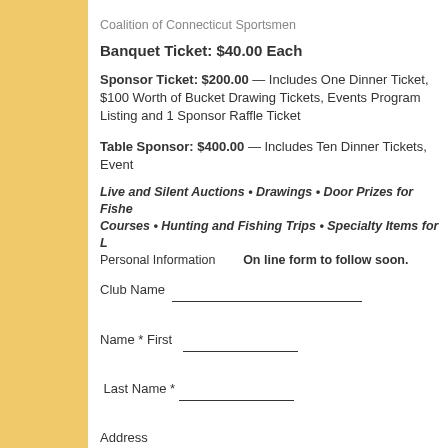Coalition of Connecticut Sportsmen
Banquet Ticket: $40.00 Each
Sponsor Ticket: $200.00 — Includes One Dinner Ticket, $100 Worth of Bucket Drawing Tickets, Events Program Listing and 1 Sponsor Raffle Ticket
Table Sponsor: $400.00 — Includes Ten Dinner Tickets, Event...
Live and Silent Auctions • Drawings • Door Prizes for Fishe... Courses • Hunting and Fishing Trips • Specialty Items for L...
Personal Information   On line form to follow soon.
Club Name ___________________________
Name * First ______________
 Last Name * ______________
Address ______________________
City * ___________________
State ____
ZIP * ____________.
Email * _______________________
Phone * ___________________
We will only call you if we have a problem with your order.